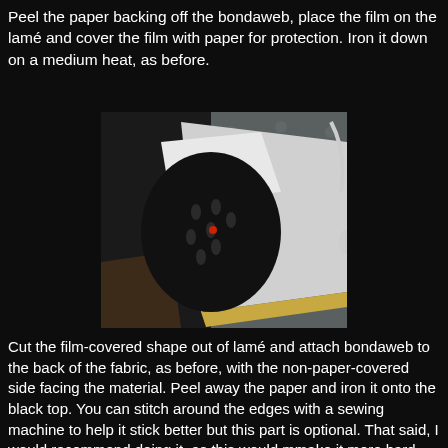Peel the paper backing off the bondaweb, place the film on the lamé and cover the film with paper for protection. Iron it down on a medium heat, as before.
[Figure (photo): Close-up photo of a black iron soleplate with steam vents, positioned on a fabric, with a white iron body and cord visible in the background, on a grey dotted surface.]
Cut the film-covered shape out of lamé and attach bondaweb to the back of the fabric, as before, with the non-paper-covered side facing the material. Peel away the paper and iron it onto the black top. You can stitch around the edges with a sewing machine to help it stick better but this part is optional. That said, I would recommend doing it, as this would mmake it more hard-wearing, especially when it gets washed.